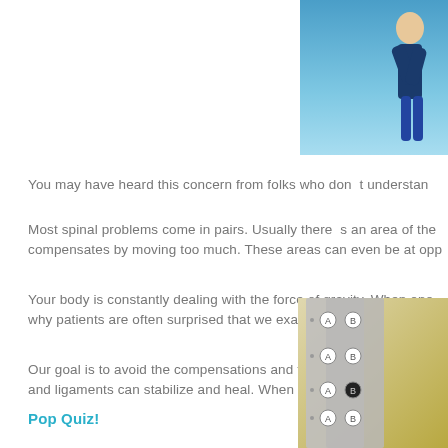[Figure (photo): Person photographed against a blue sky background, visible in upper right corner of page]
You may have heard this concern from folks who don’t understan
Most spinal problems come in pairs. Usually there’s an area of the compensates by moving too much. These areas can even be at opp
Your body is constantly dealing with the force of gravity. When one why patients are often surprised that we examine their upper back
Our goal is to avoid the compensations and focus on the primary su and ligaments can stabilize and heal. When we add motion to stuck
Pop Quiz!
[Figure (photo): Close-up photo of a multiple choice quiz/answer sheet with bubbles labeled A and B, partially visible in lower right corner]